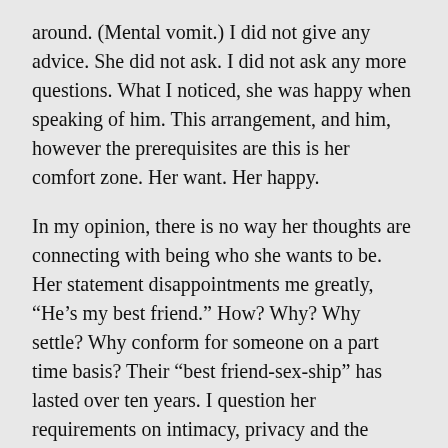around. (Mental vomit.) I did not give any advice. She did not ask. I did not ask any more questions. What I noticed, she was happy when speaking of him. This arrangement, and him, however the prerequisites are this is her comfort zone. Her want. Her happy.
In my opinion, there is no way her thoughts are connecting with being who she wants to be. Her statement disappointments me greatly, “He’s my best friend.” How? Why? Why settle? Why conform for someone on a part time basis? Their “best friend-sex-ship” has lasted over ten years. I question her requirements on intimacy, privacy and the meaning of best friend. Our population does the excessive for something that has been around since creation. Sex, the pleasure principle! #ego